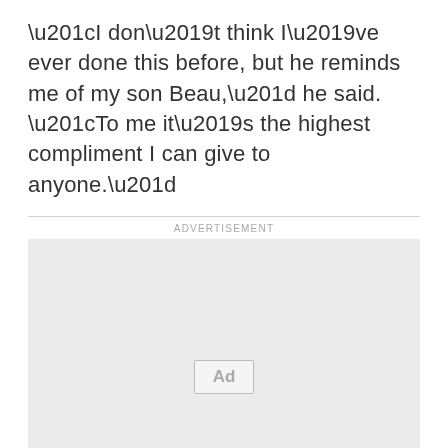“I don’t think I’ve ever done this before, but he reminds me of my son Beau,” he said. “To me it’s the highest compliment I can give to anyone.”
[Figure (other): Advertisement placeholder box with light gray background and 'Ad' label centered inside, preceded by 'ADVERTISEMENT' label text above a horizontal rule.]